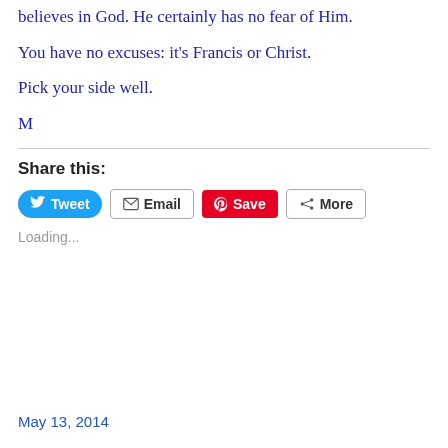believes in God. He certainly has no fear of Him.
You have no excuses: it's Francis or Christ.
Pick your side well.
M
Share this:
[Figure (screenshot): Social sharing buttons: Tweet (blue, Twitter bird icon), Email (grey border, envelope icon), Save (red, Pinterest P icon), More (grey border, share icon)]
Loading...
May 13, 2014